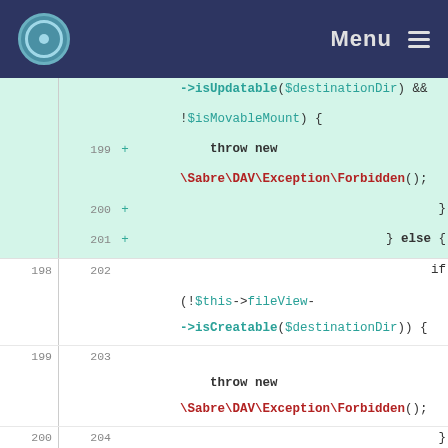Menu
[Figure (screenshot): Code diff view showing PHP code with line numbers, added lines highlighted in green. Lines 199-208 shown. Code involves isUpdatable, isMovableMount, throw new \Sabre\DAV\Exception\Forbidden(), else block, isCreatable, sameFolder checks.]